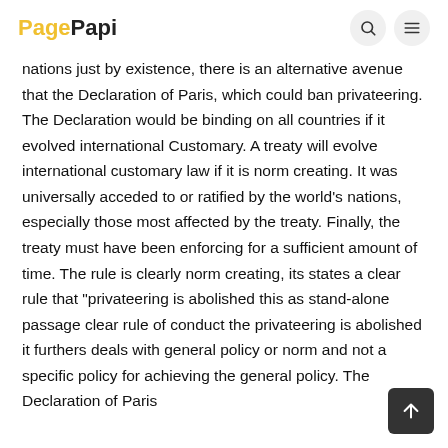PagePapi
nations just by existence, there is an alternative avenue that the Declaration of Paris, which could ban privateering. The Declaration would be binding on all countries if it evolved international Customary. A treaty will evolve international customary law if it is norm creating. It was universally acceded to or ratified by the world's nations, especially those most affected by the treaty. Finally, the treaty must have been enforcing for a sufficient amount of time. The rule is clearly norm creating, its states a clear rule that “privateering is abolished this as stand-alone passage clear rule of conduct the privateering is abolished it furthers deals with general policy or norm and not a specific policy for achieving the general policy. The Declaration of Paris